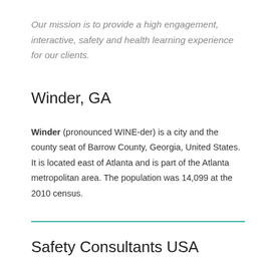Our mission is to provide a high engagement, interactive, safety and health learning experience for our clients.
Winder, GA
Winder (pronounced WINE-der) is a city and the county seat of Barrow County, Georgia, United States. It is located east of Atlanta and is part of the Atlanta metropolitan area. The population was 14,099 at the 2010 census.
Safety Consultants USA